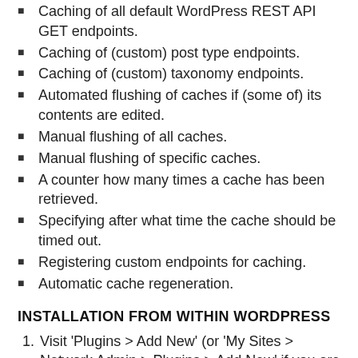Caching of all default WordPress REST API GET endpoints.
Caching of (custom) post type endpoints.
Caching of (custom) taxonomy endpoints.
Automated flushing of caches if (some of) its contents are edited.
Manual flushing of all caches.
Manual flushing of specific caches.
A counter how many times a cache has been retrieved.
Specifying after what time the cache should be timed out.
Registering custom endpoints for caching.
Automatic cache regeneration.
INSTALLATION FROM WITHIN WORDPRESS
Visit 'Plugins > Add New' (or 'My Sites > Network Admin > Plugins > Add New' if you are on a